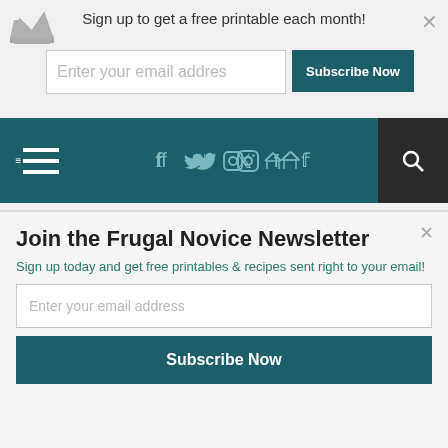Sign up to get a free printable each month!
[Figure (screenshot): Top email subscription bar with crown icon, email input field 'Enter your email addres', 'Subscribe Now' teal button, and close X button]
[Figure (screenshot): Navigation bar with hamburger menu, social icons (Facebook, Twitter, Instagram, RSS), and search icon on dark teal background]
Continue Reading...
[Figure (screenshot): Social share buttons (Facebook, Twitter, Pinterest, Google+) in olive/yellow-green parallelogram shapes with horizontal lines on either side]
[Figure (screenshot): Powered by Sumo badge with blue crown icon]
Join the Frugal Novice Newsletter
Sign up today and get free printables & recipes sent right to your email!
[Figure (screenshot): Email input field 'Enter your email address' and 'Subscribe Now' teal button for newsletter popup]